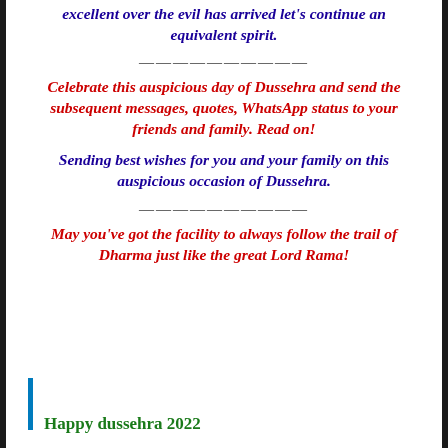excellent over the evil has arrived let's continue an equivalent spirit.
——————————
Celebrate this auspicious day of Dussehra and send the subsequent messages, quotes, WhatsApp status to your friends and family. Read on!
Sending best wishes for you and your family on this auspicious occasion of Dussehra.
——————————
May you've got the facility to always follow the trail of Dharma just like the great Lord Rama!
Happy dussehra 2022